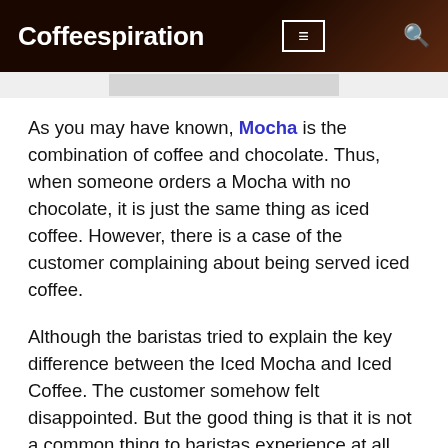Coffeespiration
As you may have known, Mocha is the combination of coffee and chocolate. Thus, when someone orders a Mocha with no chocolate, it is just the same thing as iced coffee. However, there is a case of the customer complaining about being served iced coffee.
Although the baristas tried to explain the key difference between the Iced Mocha and Iced Coffee. The customer somehow felt disappointed. But the good thing is that it is not a common thing to baristas experience at all.
Green-Tea Lattes With No Ice